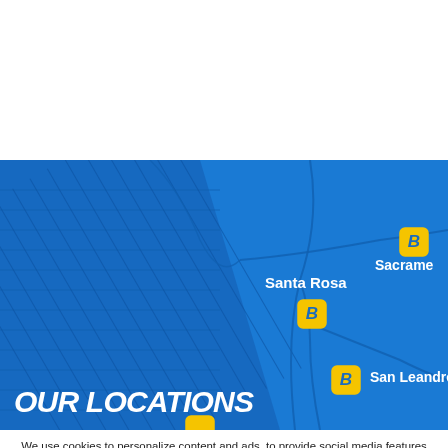[Figure (map): Map of Northern California showing Best Buy store locations marked with 'B' pins at Santa Rosa, Sacramento, and San Leandro]
OUR LOCATIONS
We use cookies to personalize content and ads, to provide social media features and to analyze our traffic. We also share information about your use of our site with our social media, advertising and analytics partners. READ MORE
ACCEPT ALL COOKIES